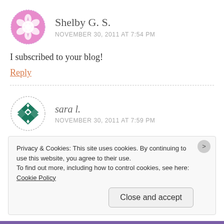[Figure (illustration): Round avatar with purple/pink background and white geometric flower/star pattern, dashed circle border]
Shelby G. S.
NOVEMBER 30, 2011 AT 7:54 PM
I subscribed to your blog!
Reply
[Figure (illustration): Round avatar with white background and dark teal geometric diamond/square pattern, dashed circle border]
sara l.
NOVEMBER 30, 2011 AT 7:59 PM
Privacy & Cookies: This site uses cookies. By continuing to use this website, you agree to their use.
To find out more, including how to control cookies, see here: Cookie Policy
Close and accept